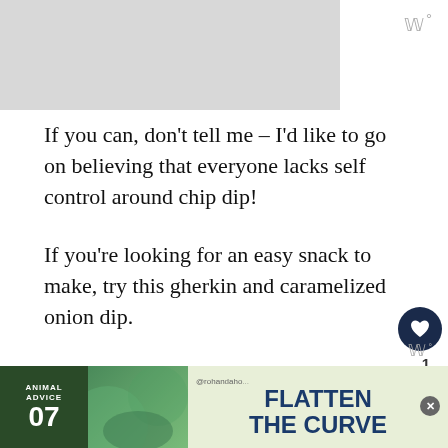[Figure (photo): Gray image placeholder at top left]
www°
If you can, don't tell me – I'd like to go on believing that everyone lacks self control around chip dip!
If you're looking for an easy snack to make, try this gherkin and caramelized onion dip.
It's super easy to make – caramelize some onions, mix a few things together and chill the dip for a few hours.  That's it.
And then you have a happy family.  Because chip dip...
[Figure (infographic): WHAT'S NEXT arrow: Tzatziki Sauce Recipe - eas...]
[Figure (infographic): Ad banner: ANIMAL ADVICE 07 FLATTEN THE CURVE @rohandaho]